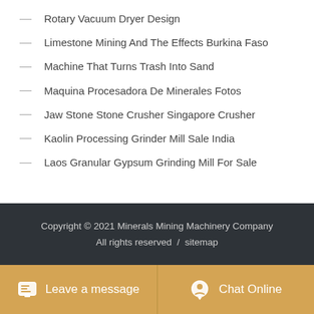— Rotary Vacuum Dryer Design
— Limestone Mining And The Effects Burkina Faso
— Machine That Turns Trash Into Sand
— Maquina Procesadora De Minerales Fotos
— Jaw Stone Stone Crusher Singapore Crusher
— Kaolin Processing Grinder Mill Sale India
— Laos Granular Gypsum Grinding Mill For Sale
Copyright © 2021 Minerals Mining Machinery Company All rights reserved / sitemap
Leave a message
Chat Online